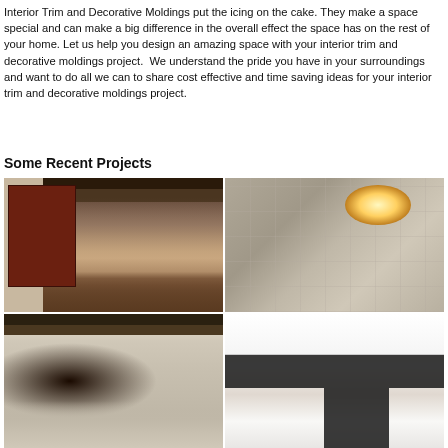Interior Trim and Decorative Moldings put the icing on the cake. They make a space special and can make a big difference in the overall effect the space has on the rest of your home. Let us help you design an amazing space with your interior trim and decorative moldings project.  We understand the pride you have in your surroundings and want to do all we can to share cost effective and time saving ideas for your interior trim and decorative moldings project.
Some Recent Projects
[Figure (photo): Interior hallway with barn-style sliding door, recessed ceiling, and hardwood flooring]
[Figure (photo): Bathroom with large tiled walls, wall sconces, and recessed shelf niche]
[Figure (photo): Living room or dining area with modern chandelier and dark ceiling beams]
[Figure (photo): Kitchen with white cabinetry, black appliances, and marble-look countertop]